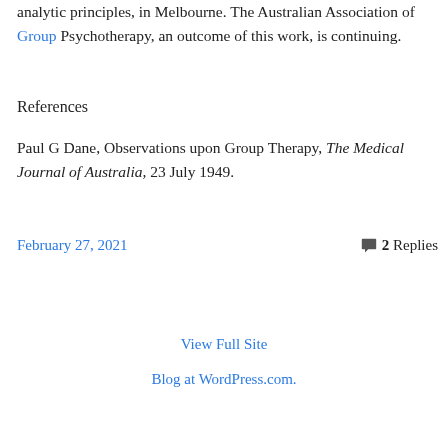analytic principles, in Melbourne. The Australian Association of Group Psychotherapy, an outcome of this work, is continuing.
References
Paul G Dane, Observations upon Group Therapy, The Medical Journal of Australia, 23 July 1949.
February 27, 2021
2 Replies
View Full Site
Blog at WordPress.com.